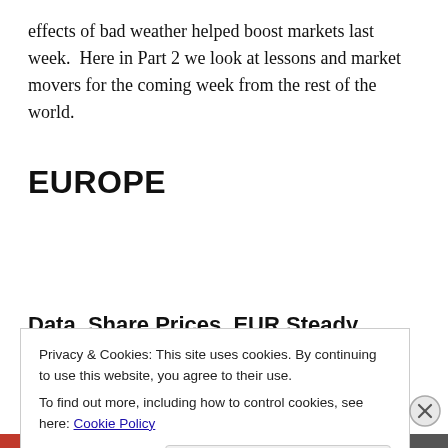effects of bad weather helped boost markets last week. Here in Part 2 we look at lessons and market movers for the coming week from the rest of the world.
EUROPE
Data, Share Prices, EUR Steady
Privacy & Cookies: This site uses cookies. By continuing to use this website, you agree to their use.
To find out more, including how to control cookies, see here: Cookie Policy
Close and accept